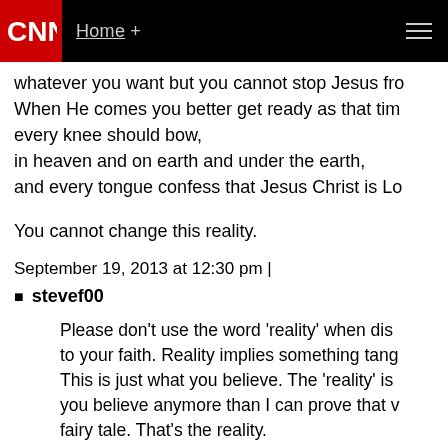CNN | Home +
whatever you want but you cannot stop Jesus fro... When He comes you better get ready as that tim... every knee should bow, in heaven and on earth and under the earth, and every tongue confess that Jesus Christ is Lo...
You cannot change this reality.
September 19, 2013 at 12:30 pm |
stevef00
Please don't use the word 'reality' when di... to your faith. Reality implies something tang... This is just what you believe. The 'reality' is... you believe anymore than I can prove that ... fairy tale. That's the reality.
September 19, 2013 at 4:27 pm |
Jesus Loves You